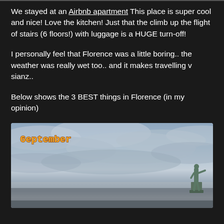We stayed at an Airbnb apartment This place is super cool and nice! Love the kitchen! Just that the climb up the flight of stairs (6 floors!) with luggage is a HUGE turn-off!
I personally feel that Florence was a little boring.. the weather was really wet too.. and it makes travelling v sianz..
Below shows the 3 BEST things in Florence (in my opinion)
[Figure (photo): Outdoor photo showing a cloudy sky with a statue of David (Florence) visible in the lower right, with a 'September' label in orange pixel-style font overlaid on the top left.]